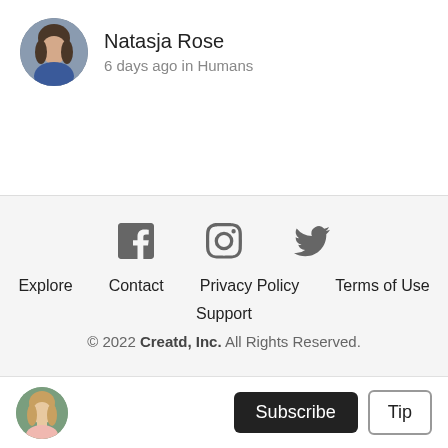Natasja Rose
6 days ago in Humans
[Figure (illustration): Social media footer with Facebook, Instagram, and Twitter icons, navigation links (Explore, Contact, Privacy Policy, Terms of Use, Support), and copyright notice: © 2022 Creatd, Inc. All Rights Reserved.]
© 2022 Creatd, Inc. All Rights Reserved.